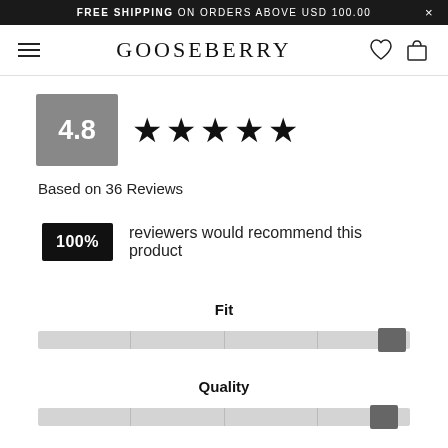FREE SHIPPING ON ORDERS ABOVE USD 100.00  ×
GOOSEBERRY
4.8 ★★★★★
Based on 36 Reviews
100% reviewers would recommend this product
Fit
Quality